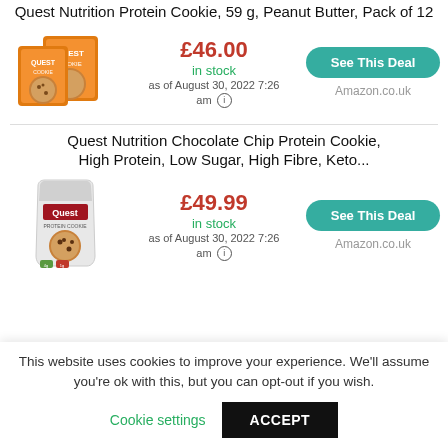Quest Nutrition Protein Cookie, 59 g, Peanut Butter, Pack of 12
[Figure (photo): Quest Nutrition Protein Cookie orange box packaging with two cookies visible]
£46.00
in stock
as of August 30, 2022 7:26 am
See This Deal
Amazon.co.uk
Quest Nutrition Chocolate Chip Protein Cookie, High Protein, Low Sugar, High Fibre, Keto...
[Figure (photo): Quest Nutrition Chocolate Chip Protein Cookie white bag packaging]
£49.99
in stock
as of August 30, 2022 7:26 am
See This Deal
Amazon.co.uk
This website uses cookies to improve your experience. We'll assume you're ok with this, but you can opt-out if you wish.
Cookie settings    ACCEPT